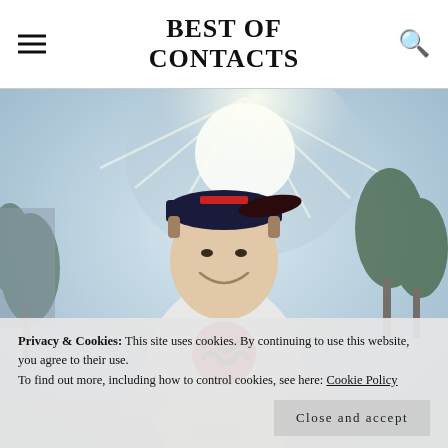BEST OF CONTACTS
[Figure (photo): Young man smiling, wearing a backwards cap and white t-shirt with a red Musical.ly logo, outdoors with trees in the background and bright sunlight]
Privacy & Cookies: This site uses cookies. By continuing to use this website, you agree to their use.
To find out more, including how to control cookies, see here: Cookie Policy
Close and accept